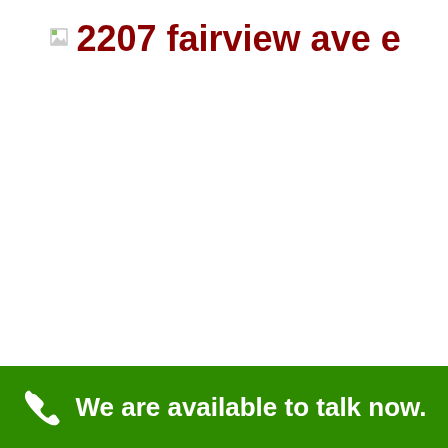2207 fairview ave e
We are available to talk now.